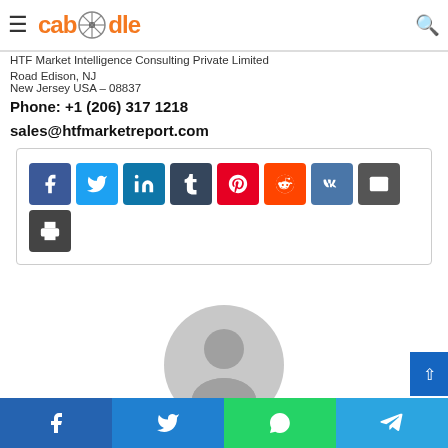caboodle (logo nav bar with hamburger and search)
HTF Market Intelligence Consulting Private Limited
Road Edison, NJ
New Jersey USA – 08837
Phone: +1 (206) 317 1218
sales@htfmarketreport.com
[Figure (infographic): Social share button row with icons: Facebook, Twitter, LinkedIn, Tumblr, Pinterest, Reddit, VK, Email, Print]
[Figure (photo): Default user avatar silhouette in grey]
Bottom share bar: Facebook, Twitter, WhatsApp, Telegram